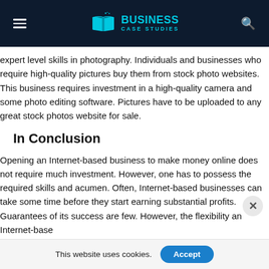Business Case Studies
expert level skills in photography. Individuals and businesses who require high-quality pictures buy them from stock photo websites. This business requires investment in a high-quality camera and some photo editing software. Pictures have to be uploaded to any great stock photos website for sale.
In Conclusion
Opening an Internet-based business to make money online does not require much investment. However, one has to possess the required skills and acumen. Often, Internet-based businesses can take some time before they start earning substantial profits. Guarantees of its success are few. However, the flexibility an Internet-base
This website uses cookies.